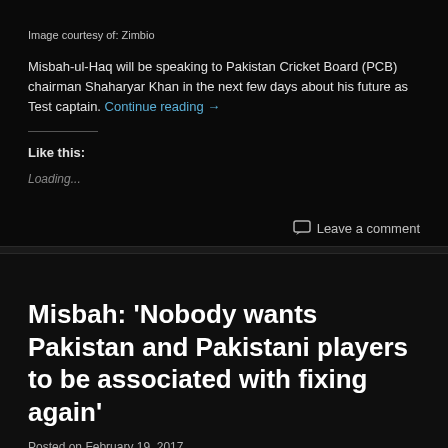Image courtesy of: Zimbio
Misbah-ul-Haq will be speaking to Pakistan Cricket Board (PCB) chairman Shaharyar Khan in the next few days about his future as Test captain. Continue reading →
Like this:
Loading...
Leave a comment
Misbah: 'Nobody wants Pakistan and Pakistani players to be associated with fixing again'
Posted on February 19, 2017